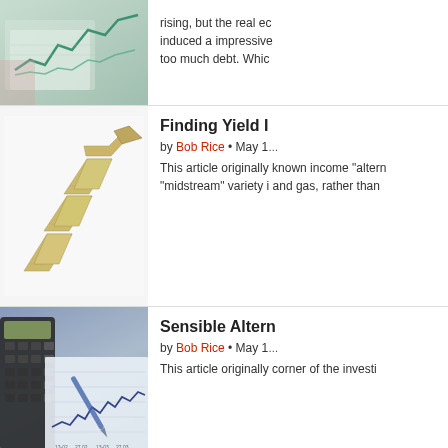[Figure (photo): Financial charts and papers with stock market lines, blurred background]
rising, but the real ec induced a impressive too much debt. Whic
[Figure (illustration): Dollar bills folded into a zigzag upward trend arrow chart]
Finding Yield I
by Bob Rice • May 1
This article originally known income "altern "midstream" variety i and gas, rather than
[Figure (photo): Calculator, financial charts with line graphs, and a pen on printed financial data]
Sensible Altern
by Bob Rice • May 1
This article originally corner of the investi